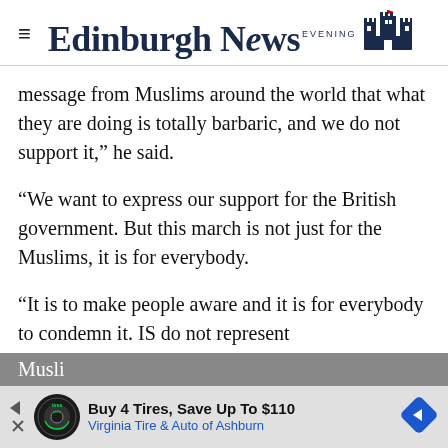Edinburgh Evening News
message from Muslims around the world that what they are doing is totally barbaric, and we do not support it,” he said.
“We want to express our support for the British government. But this march is not just for the Muslims, it is for everybody.
“It is to make people aware and it is for everybody to condemn it. IS do not represent Musli…
[Figure (other): Advertisement banner: Buy 4 Tires, Save Up To $110 Virginia Tire & Auto of Ashburn]